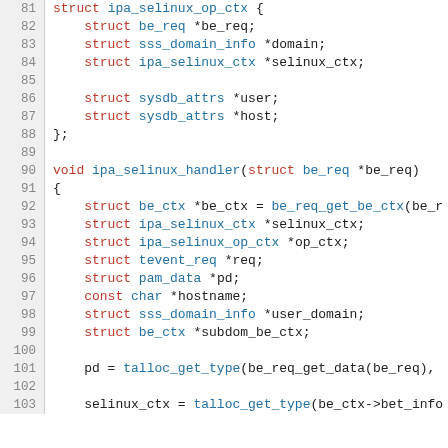[Figure (screenshot): C source code snippet showing struct ipa_selinux_op_ctx definition and void ipa_selinux_handler function declaration with local variable declarations, lines 81-103.]